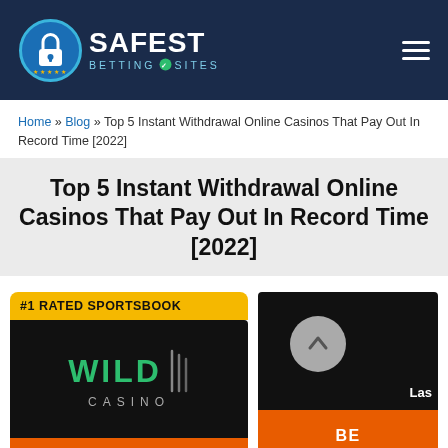Safest Betting Sites
Home » Blog » Top 5 Instant Withdrawal Online Casinos That Pay Out In Record Time [2022]
Top 5 Instant Withdrawal Online Casinos That Pay Out In Record Time [2022]
#1 RATED SPORTSBOOK
[Figure (logo): Wild Casino logo on black background — green bold WILD text with CASINO below in grey letters]
BET NOW
[Figure (screenshot): Partially visible casino card on dark background with a grey arrow/chevron circle and Las text visible]
BE